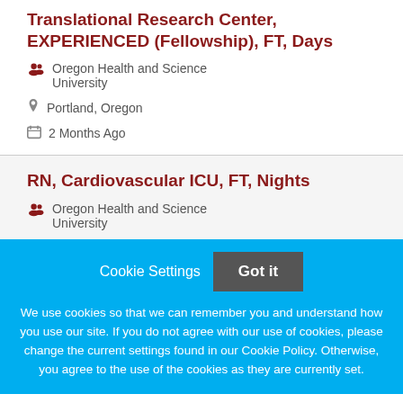Translational Research Center, EXPERIENCED (Fellowship), FT, Days
Oregon Health and Science University
Portland, Oregon
2 Months Ago
RN, Cardiovascular ICU, FT, Nights
Oregon Health and Science University
Cookie Settings  Got it
We use cookies so that we can remember you and understand how you use our site. If you do not agree with our use of cookies, please change the current settings found in our Cookie Policy. Otherwise, you agree to the use of the cookies as they are currently set.